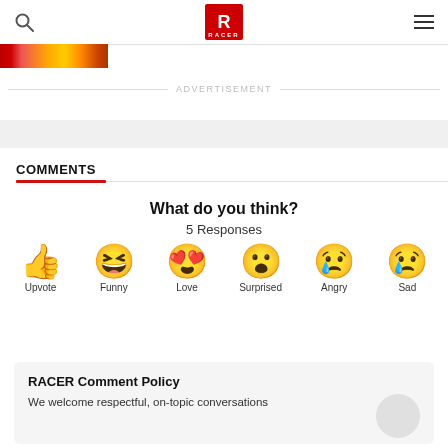RACER logo with search and menu icons
[Figure (photo): Partial image strip showing colorful race car image]
ADVERTISEMENT
COMMENTS
What do you think?
5 Responses
[Figure (infographic): Row of six emoji reactions: Upvote (thumbs up), Funny (laughing face with tongue), Love (heart eyes), Surprised (open mouth), Angry (crying face), Sad (sad face with tear)]
RACER Comment Policy
We welcome respectful, on-topic conversations